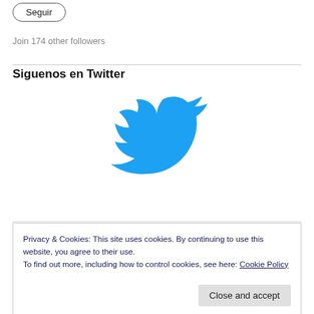Seguir
Join 174 other followers
Siguenos en Twitter
[Figure (logo): Twitter bird logo in blue]
Privacy & Cookies: This site uses cookies. By continuing to use this website, you agree to their use. To find out more, including how to control cookies, see here: Cookie Policy
Close and accept